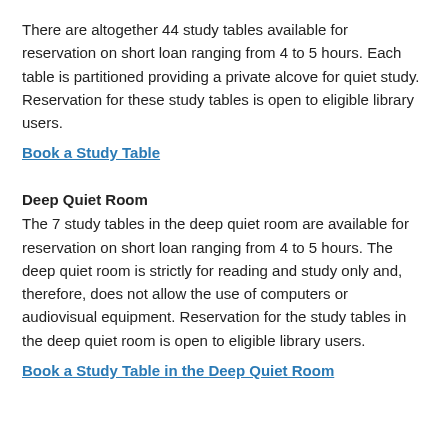There are altogether 44 study tables available for reservation on short loan ranging from 4 to 5 hours.  Each table is partitioned providing a private alcove for quiet study. Reservation for these study tables is open to eligible library users.
Book a Study Table
Deep Quiet Room
The 7 study tables in the deep quiet room are available for reservation on short loan ranging from 4 to 5 hours.  The deep quiet room is strictly for reading and study only and, therefore, does not allow the use of computers or audiovisual equipment. Reservation for the study tables in the deep quiet room is open to eligible library users.
Book a Study Table in the Deep Quiet Room